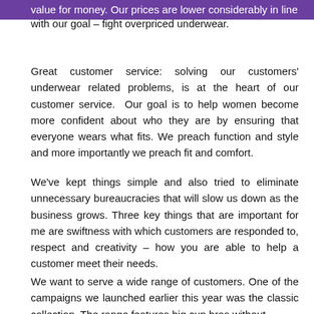value for money. Our prices are lower considerably in line with our goal – fight overpriced underwear.
Great customer service: solving our customers' underwear related problems, is at the heart of our customer service. Our goal is to help women become more confident about who they are by ensuring that everyone wears what fits. We preach function and style and more importantly we preach fit and comfort.
We've kept things simple and also tried to eliminate unnecessary bureaucracies that will slow us down as the business grows. Three key things that are important for me are swiftness with which customers are responded to, respect and creativity – how you are able to help a customer meet their needs.
We want to serve a wide range of customers. One of the campaigns we launched earlier this year was the classic collection. The range features big cup bras without